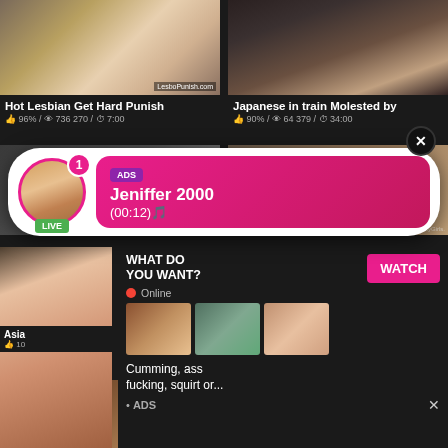[Figure (screenshot): Adult video thumbnail grid with overlay ads. Top row: two video thumbnails with titles and metadata. Middle: notification-style ad overlay for 'Jeniffer 2000'. Bottom: secondary ad panel with 'WHAT DO YOU WANT? WATCH' and 'Cumming, ass fucking, squirt or...' text.]
Hot Lesbian Get Hard Punish
👍 96% / 👁 736 270 / ⏱ 7:00
Japanese in train Molested by
👍 90% / 👁 64 379 / ⏱ 34:00
ADS
Jeniffer 2000
(00:12)🎵
LIVE
Asia
👍 10
WHAT DO YOU WANT?
WATCH
● Online
Cumming, ass fucking, squirt or...
• ADS